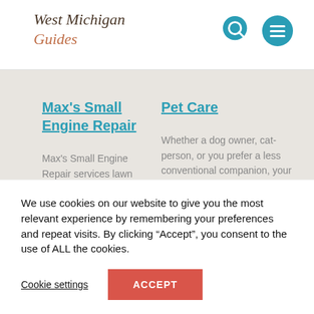West Michigan Guides
Max's Small Engine Repair
Max's Small Engine Repair services lawn tractors, push mowers, and more. Pick up and delivery available in the Ludington and Pentwater...
Pet Care
Whether a dog owner, cat-person, or you prefer a less conventional companion, your friend is in good hands with these businesses.
We use cookies on our website to give you the most relevant experience by remembering your preferences and repeat visits. By clicking “Accept”, you consent to the use of ALL the cookies.
Cookie settings | ACCEPT